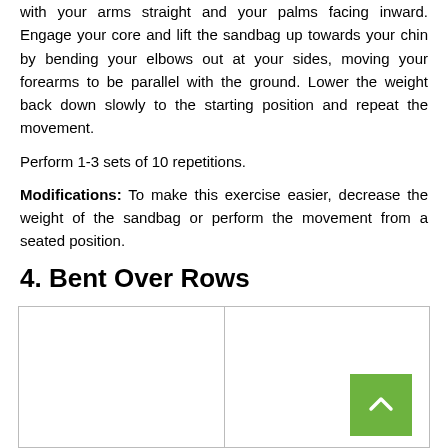with your arms straight and your palms facing inward. Engage your core and lift the sandbag up towards your chin by bending your elbows out at your sides, moving your forearms to be parallel with the ground. Lower the weight back down slowly to the starting position and repeat the movement.
Perform 1-3 sets of 10 repetitions.
Modifications: To make this exercise easier, decrease the weight of the sandbag or perform the movement from a seated position.
4. Bent Over Rows
[Figure (photo): Two side-by-side image boxes showing Bent Over Rows exercise photos (content not visible)]